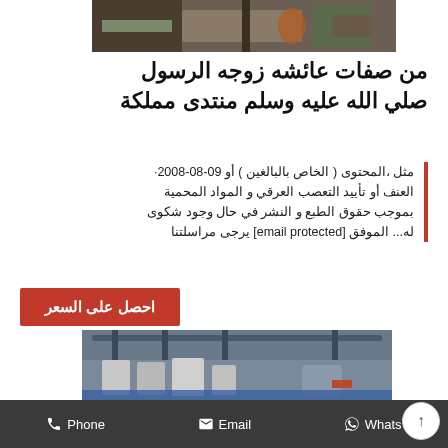[Figure (photo): Industrial/factory setting, top cropped image showing machinery]
من صفات عائشه زوجه الرسول صلي الله عليه وسلم منتدى مملكة
مثل ،المحتوى ( الخاص بالبالغين ) أو 09-08-2008· العنف أو تأييد التعصب العرقي و المواد المحمية بموجب حقوق الطبع و النشر في حال وجود شكوى له... الموفق [email protected] يرجى مراسلتنا
احصل على السعر
[Figure (photo): Industrial facility interior showing pipes, tanks and industrial equipment]
Phone   Email   Whats